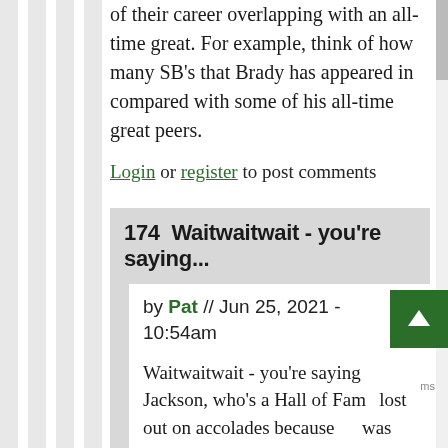of their career overlapping with an all-time great. For example, think of how many SB's that Brady has appeared in compared with some of his all-time great peers.
Login or register to post comments
174  Waitwaitwait - you're saying...
by Pat // Jun 25, 2021 - 10:54am
Waitwaitwait - you're saying Jackson, who's a Hall of Fame lost out on accolades because was competing against his teammate - who won those accolades... but Jackson's clearly the more deserving Hall